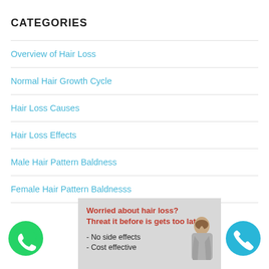CATEGORIES
Overview of Hair Loss
Normal Hair Growth Cycle
Hair Loss Causes
Hair Loss Effects
Male Hair Pattern Baldness
Female Hair Pattern Baldnesss
[Figure (infographic): Advertisement box with red bold text 'Worried about hair loss? Threat it before is gets too late' and bullet points 'No side effects' and 'Cost effective', with a person touching their head on the right side. WhatsApp icon on the left and phone icon on the right.]